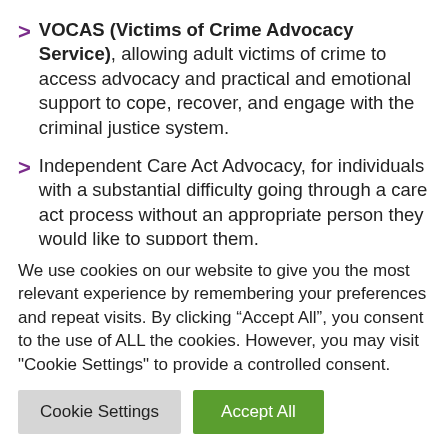VOCAS (Victims of Crime Advocacy Service), allowing adult victims of crime to access advocacy and practical and emotional support to cope, recover, and engage with the criminal justice system.
Independent Care Act Advocacy, for individuals with a substantial difficulty going through a care act process without an appropriate person they would like to support them.
Independent Mental Health Act Advocacy (IMHA),
We use cookies on our website to give you the most relevant experience by remembering your preferences and repeat visits. By clicking “Accept All”, you consent to the use of ALL the cookies. However, you may visit "Cookie Settings" to provide a controlled consent.